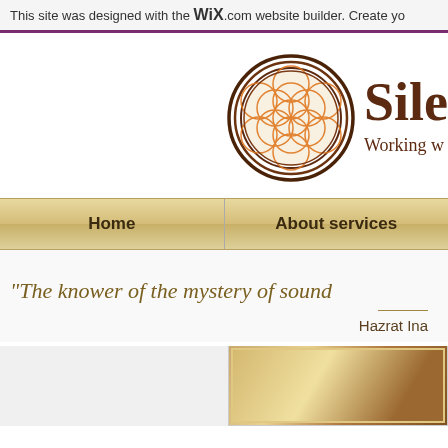This site was designed with the WIX.com website builder. Create yo
[Figure (logo): Circular logo with concentric brown rings and orange overlapping circle pattern inside, followed by partial brand name 'Sile' and tagline 'Working w' in dark brown serif font]
Home
About services
"The knower of the mystery of sound
Hazrat Ina
[Figure (photo): Partial image visible at bottom right, warm golden-brown tones, appears to be a decorative or portrait photo]